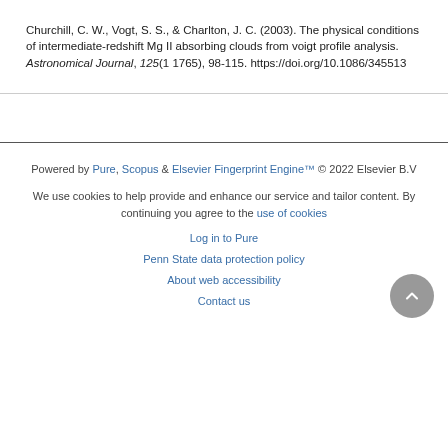Churchill, C. W., Vogt, S. S., & Charlton, J. C. (2003). The physical conditions of intermediate-redshift Mg II absorbing clouds from voigt profile analysis. Astronomical Journal, 125(1 1765), 98-115. https://doi.org/10.1086/345513
Powered by Pure, Scopus & Elsevier Fingerprint Engine™ © 2022 Elsevier B.V
We use cookies to help provide and enhance our service and tailor content. By continuing you agree to the use of cookies
Log in to Pure
Penn State data protection policy
About web accessibility
Contact us